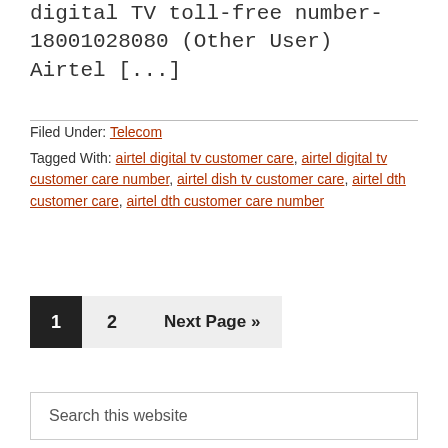digital TV toll-free number- 18001028080 (Other User) Airtel [...]
Filed Under: Telecom
Tagged With: airtel digital tv customer care, airtel digital tv customer care number, airtel dish tv customer care, airtel dth customer care, airtel dth customer care number
1  2  Next Page »
Search this website